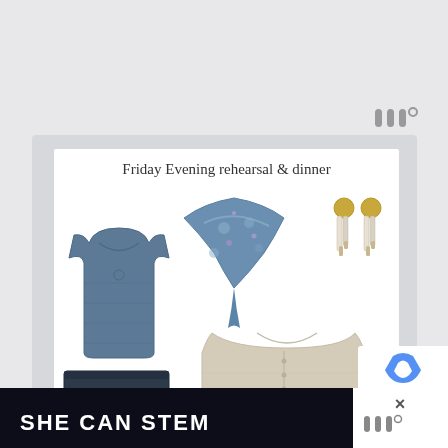[Figure (logo): Wren logo mark composed of three vertical lines with a degree symbol, displayed in gray, top right of page]
Friday Evening rehearsal & dinner
[Figure (photo): Fashion flatlay showing a blue sleeveless tank top, a blue floral silk scarf/bandana, gold dangling earrings, a beige/tan cardigan sweater, and dark navy trousers/pants on white background]
SHE CAN STEM
[Figure (logo): Wren logo bottom right with x mark cross symbol]